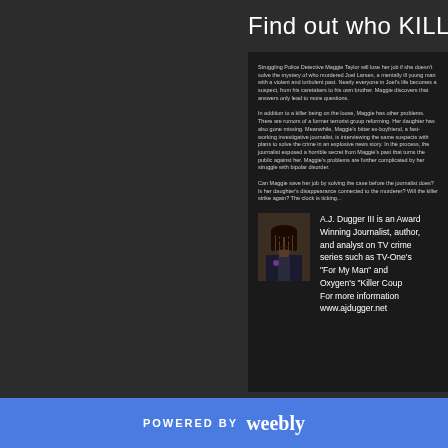Find out who KILLE
Struggling Police Detective Maggie Taylor will lose her job if she doesn't solve the mystery of who murdered Joel Larsen, a mentally ill young man with a violent and turbulent past. Nearly everyone in Joel's life becomes a suspect, from his caretakers to his own brother. Maggie discovers that answers only lead to more questions.

In addition to a killer being on the loose, Maggie has other problems. There are rumors of a former terrorist group reforming. Her daughter has also gone missing. Meanwhile, Maggie's bitter ex-boyfriend, a fast-working investigative journalist, is interviewing the same suspects with plans to solve the crime in an explosive news story. In the process, the journalist exposed a horrible secret from Maggie's past that turns the public against her. Maggie's problems are further complicated by her struggle with bipolar disorder.

Can Maggie save her job by solving the case before the journalist does? Is her daughter's disappearance connected to the murderer? Will the killer strike again? The clock is ticking...
[Figure (photo): Author photo of A.J. Dugger III - a man with dreadlocks wearing a suit]
A.J. Dugger III is an Award Winning Journalist, author, and analyst on TV crime series such as TV-One's "For My Man" and Oxygen's "Killer Couples". For more information visit www.ajdugger.net
POWERED BY weebly